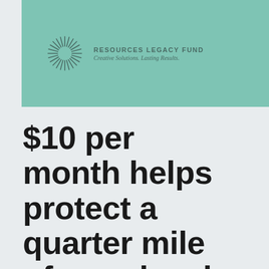[Figure (logo): Resources Legacy Fund logo with sunburst/starburst graphic icon and text 'RESOURCES LEGACY FUND / Creative Solutions. Lasting Results.' on a teal/mint green background banner]
$10 per month helps protect a quarter mile of your local coast.